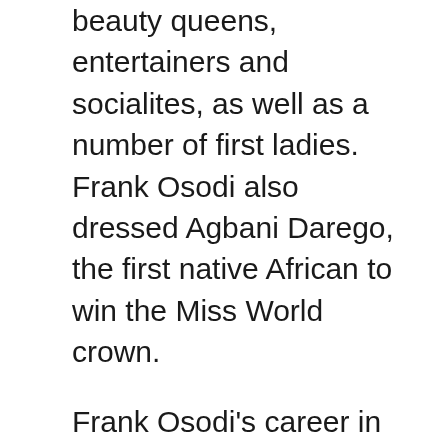beauty queens, entertainers and socialites, as well as a number of first ladies. Frank Osodi also dressed Agbani Darego, the first native African to win the Miss World crown.
Frank Osodi's career in the fashion industry ranges from fashion design and consultancy to model management, media events and make up artistry. He is a past vice president of the Fashion Designers Association of Nigeria (FADAN), and the current president of the model managers association of Nigeria (PROMMAN). Mr. Osodi's distinctive designs have been presented at many top fashion events including